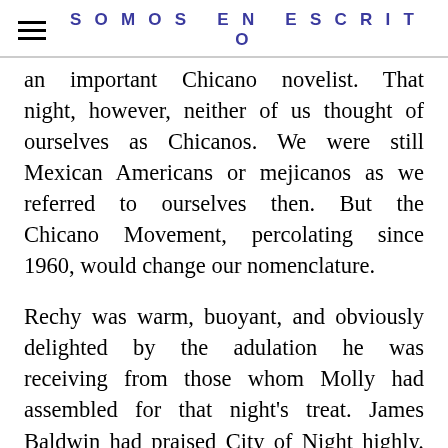SOMOS EN ESCRITO
an important Chicano novelist. That night, however, neither of us thought of ourselves as Chicanos. We were still Mexican Americans or mejicanos as we referred to ourselves then. But the Chicano Movement, percolating since 1960, would change our nomenclature.
Rechy was warm, buoyant, and obviously delighted by the adulation he was receiving from those whom Molly had assembled for that night's treat. James Baldwin had praised City of Night highly. There was a certain reticence on Rechy's part not because of those of us who had been invited to hear him speak about his